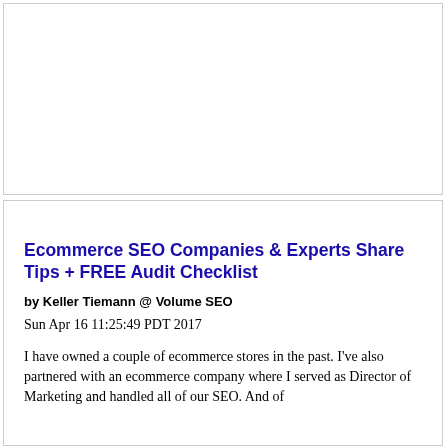[Figure (other): Empty white box / advertisement placeholder at top of page]
Ecommerce SEO Companies & Experts Share Tips + FREE Audit Checklist
by Keller Tiemann @ Volume SEO
Sun Apr 16 11:25:49 PDT 2017
I have owned a couple of ecommerce stores in the past. I've also partnered with an ecommerce company where I served as Director of Marketing and handled all of our SEO. And of